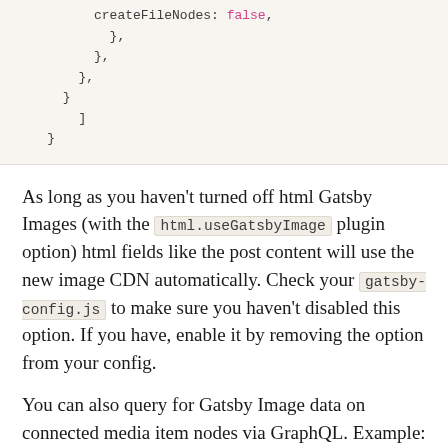createFileNodes: false,
            },
          },
        },
      }
        ]
    }
As long as you haven't turned off html Gatsby Images (with the html.useGatsbyImage plugin option) html fields like the post content will use the new image CDN automatically. Check your gatsby-config.js to make sure you haven't disabled this option. If you have, enable it by removing the option from your config.
You can also query for Gatsby Image data on connected media item nodes via GraphQL. Example:
[Figure (other): GRAPHQL badge label in magenta/pink color with white text]